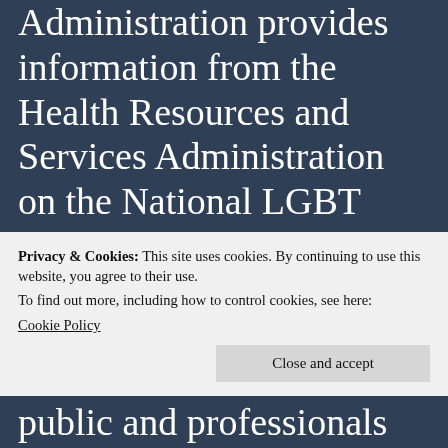Administration provides information from the Health Resources and Services Administration on the National LGBT Health Education Center health disparities, and links to additional resources.
Hope Exists After Rape Trauma: The mission of Hope Exists After Rape Trauma (H-E-A-R-T) is to provide HOPE for victims of sexual assault
Privacy & Cookies: This site uses cookies. By continuing to use this website, you agree to their use. To find out more, including how to control cookies, see here: Cookie Policy
public and professionals